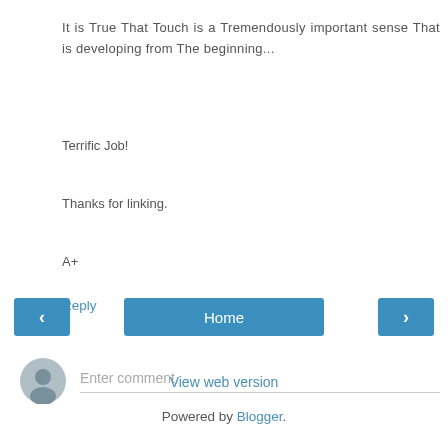It is True That Touch is a Tremendously important sense That is developing from The beginning...
Terrific Job!
Thanks for linking.
A+
Reply
Enter comment
Home
View web version
Powered by Blogger.